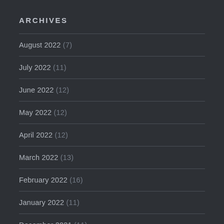ARCHIVES
August 2022 (7)
July 2022 (11)
June 2022 (12)
May 2022 (12)
April 2022 (12)
March 2022 (13)
February 2022 (16)
January 2022 (11)
December 2021 (11)